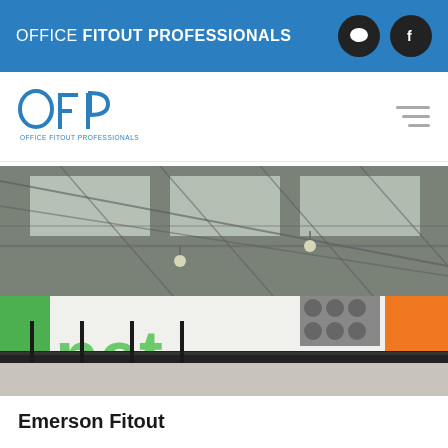OFFICE FITOUT PROFESSIONALS
[Figure (logo): OFP Office Fitout Professionals logo with blue O, F, P letters and tagline beneath]
[Figure (photo): Interior of large industrial/warehouse fitout showing green branded wall with 'net.' text, steel roof trusses, lighting panels, and HVAC equipment]
Emerson Fitout